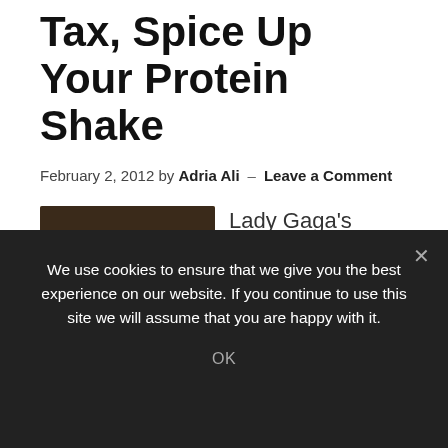Tax, Spice Up Your Protein Shake
February 2, 2012 by Adria Ali — Leave a Comment
[Figure (photo): Photo of Lady Gaga wearing large dark sunglasses, a gold glittery outfit, and long blonde hair, with another person visible in the background.]
Lady Gaga's Newest Fitness Addiction (Fit Celeb)  Vending Machines That Tell You Nutritional Information?  (Fit Perez)  Is Sugar As Dangerous As Alcohol and Tobacco?  A Tax On
We use cookies to ensure that we give you the best experience on our website. If you continue to use this site we will assume that you are happy with it.
OK